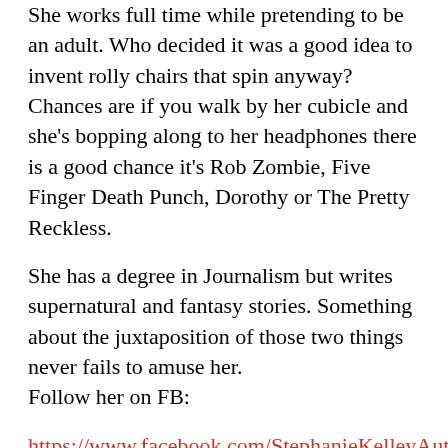She works full time while pretending to be an adult. Who decided it was a good idea to invent rolly chairs that spin anyway? Chances are if you walk by her cubicle and she's bopping along to her headphones there is a good chance it's Rob Zombie, Five Finger Death Punch, Dorothy or The Pretty Reckless.
She has a degree in Journalism but writes supernatural and fantasy stories. Something about the juxtaposition of those two things never fails to amuse her.
Follow her on FB:
https://www.facebook.com/StephanieKelleyAuthor
Nona Black is the pseudonym of... well if I tell you, there wouldn't be any point in having a pen name 😉
Free now to write whatever my naughty little heart desires I hope you enjoy every one of the – love, pain, angst, erotic